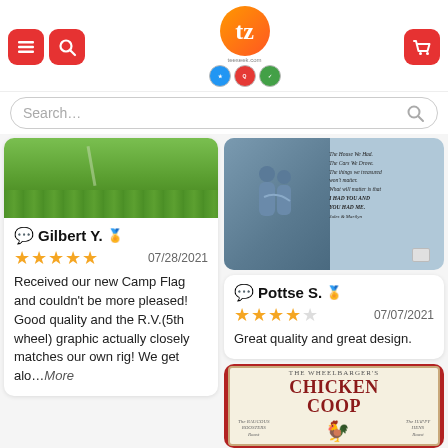Teeseek.com header with search bar
[Figure (screenshot): Green grass/lawn product image cropped at top]
Gilbert Y. ✅ ★★★★★ 07/28/2021 Received our new Camp Flag and couldn't be more pleased! Good quality and the R.V.(5th wheel) graphic actually closely matches our own rig! We get alo...More
[Figure (photo): Memorial sign photo showing two figures hugging and text 'The House We Had, The Cars We Drove, The Things we treasured won't matter, What will matter is that I HAD YOU AND YOU HAD ME' signed Jules & Marilyn]
Pottse S. ✅ ★★★★☆ 07/07/2021 Great quality and great design.
[Figure (photo): Photo of The Wheelbarger's Chicken Coop sign with rooster and hens illustrations]